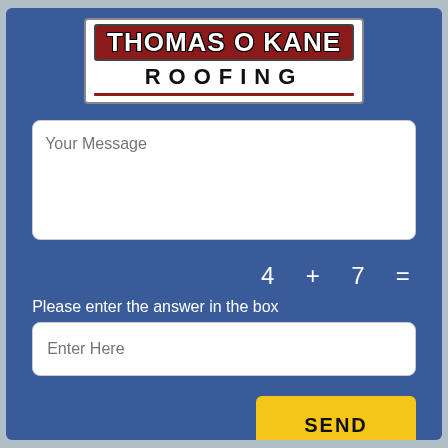[Figure (logo): Thomas O Kane Roofing company logo: red banner with white bold text 'THOMAS O KANE' above black bold text 'ROOFING' with red underline, on white background]
Your Message
4  +  7  =
Please enter the answer in the box
Enter Here
SEND